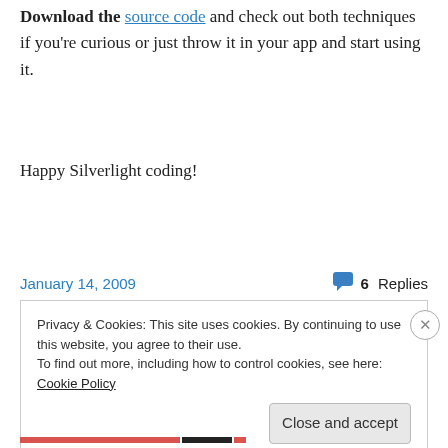Download the source code and check out both techniques if you're curious or just throw it in your app and start using it.
Happy Silverlight coding!
January 14, 2009    💬 6 Replies
Privacy & Cookies: This site uses cookies. By continuing to use this website, you agree to their use. To find out more, including how to control cookies, see here: Cookie Policy